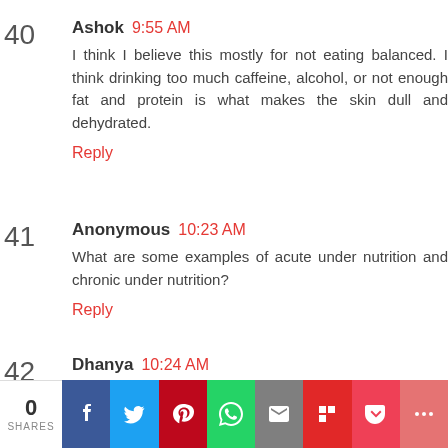40 Ashok 9:55 AM
I think I believe this mostly for not eating balanced. I think drinking too much caffeine, alcohol, or not enough fat and protein is what makes the skin dull and dehydrated.
Reply
41 Anonymous 10:23 AM
What are some examples of acute under nutrition and chronic under nutrition?
Reply
42 Dhanya 10:24 AM
thinness, malnutrition, swollen tummy, can go into
0 SHARES